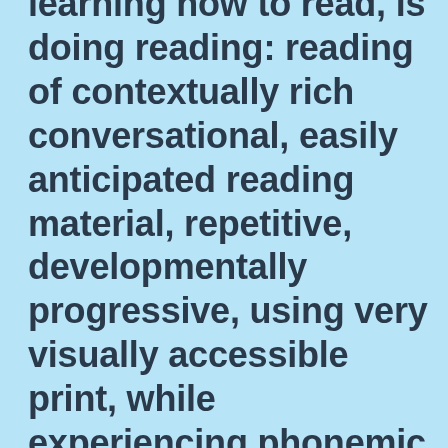learning how to read, is doing reading: reading of contextually rich conversational, easily anticipated reading material, repetitive, developmentally progressive, using very visually accessible print, while experiencing phonemic awareness, letter sound correspondences, through reading, done orally, out loud, and